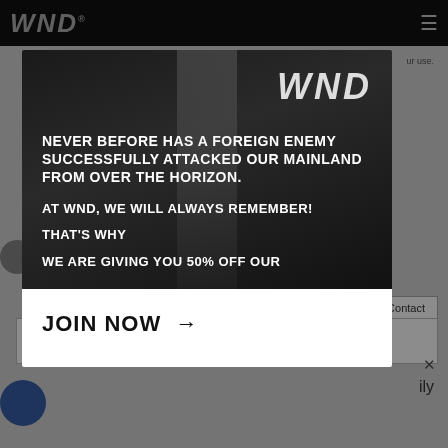WND
[Figure (screenshot): WND website background page with navigation bar, partial article content, contact button, search bar, and close button]
[Figure (logo): WND logo in white/silver italic bold lettering on dark background inside modal]
NEVER BEFORE HAS A FOREIGN ENEMY SUCCESSFULLY ATTACKED OUR MAINLAND FROM OVER THE HORIZON.
AT WND, WE WILL ALWAYS REMEMBER!
THAT'S WHY
WE ARE GIVING YOU 50% OFF OUR
JOIN NOW →